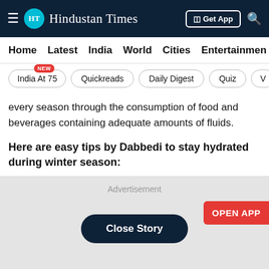Hindustan Times
Home  Latest  India  World  Cities  Entertainment
India At 75  Quickreads  Daily Digest  Quiz  V
every season through the consumption of food and beverages containing adequate amounts of fluids.
Here are easy tips by Dabbedi to stay hydrated during winter season:
[Figure (other): Advertisement area with Close Story button and OPEN APP button]